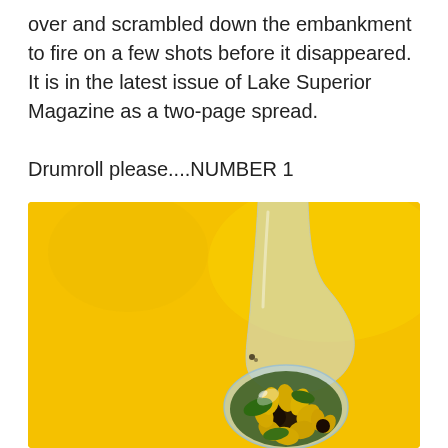over and scrambled down the embankment to fire on a few shots before it disappeared. It is in the latest issue of Lake Superior Magazine as a two-page spread.
Drumroll please....NUMBER 1
[Figure (photo): A macro photograph of a water droplet falling against a bright yellow background. The droplet contains a reflection of black-eyed Susan flowers.]